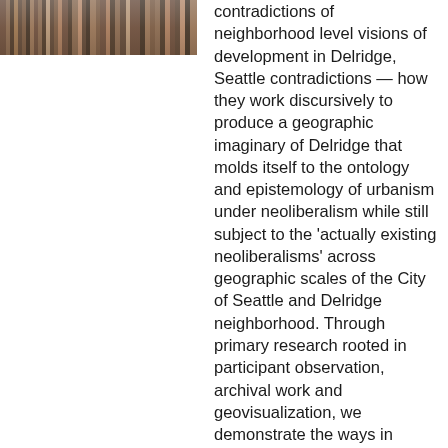[Figure (photo): Partial view of a bookshelf with books, cropped at the top-left of the page]
contradictions of neighborhood level visions of development in Delridge, Seattle contradictions — how they work discursively to produce a geographic imaginary of Delridge that molds itself to the ontology and epistemology of urbanism under neoliberalism while still subject to the 'actually existing neoliberalisms' across geographic scales of the City of Seattle and Delridge neighborhood. Through primary research rooted in participant observation, archival work and geovisualization, we demonstrate the ways in which neighborhood-level